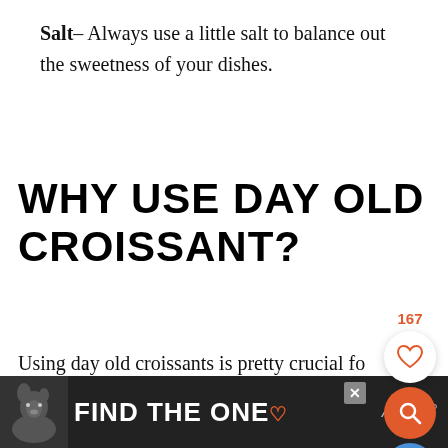Salt– Always use a little salt to balance out the sweetness of your dishes.
WHY USE DAY OLD CROISSANT?
Using day old croissants is pretty crucial for this recipe because they hold their shape a lot better when mixed with the egg custard. They also yield an amazingly crunchy top with a soft and gooey center. Perfect breakfast tre...
[Figure (other): Ad banner with dog image and text FIND THE ONE with a heart icon]